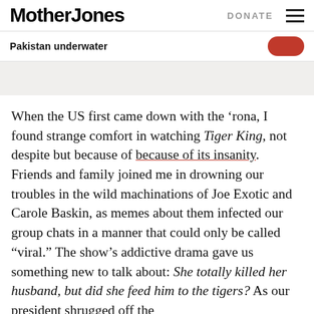Mother Jones  DONATE
Pakistan underwater
When the US first came down with the ‘rona, I found strange comfort in watching Tiger King, not despite but because of its insanity. Friends and family joined me in drowning our troubles in the wild machinations of Joe Exotic and Carole Baskin, as memes about them infected our group chats in a manner that could only be called “viral.” The show’s addictive drama gave us something new to talk about: She totally killed her husband, but did she feed him to the tigers? As our president shrugged off the